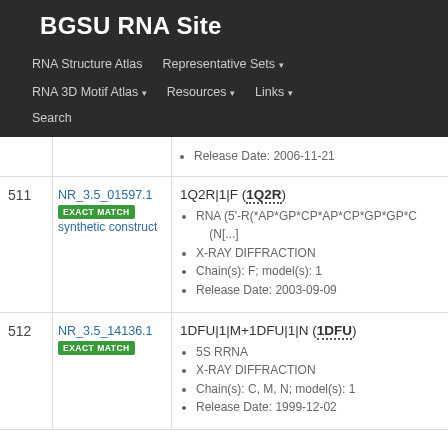BGSU RNA Site
RNA Structure Atlas | Representative Sets ▾ | RNA 3D Motif Atlas ▾ | Resources ▾ | Links ▾ | Search
Release Date: 2006-11-21
| # | Equivalence Class | Representative |
| --- | --- | --- |
| 511 | NR_3.5_01597.1 EXACT MATCH synthetic construct | 1Q2R|1|F (1Q2R)
• RNA (5'-R(*AP*GP*CP*AP*CP*GP*GP*C... (N[...]
• X-RAY DIFFRACTION
• Chain(s): F; model(s): 1
• Release Date: 2003-09-09 |
| 512 | NR_3.5_14136.1 EXACT MATCH | 1DFU|1|M+1DFU|1|N (1DFU)
• 5S RRNA
• X-RAY DIFFRACTION
• Chain(s): C, M, N; model(s): 1
• Release Date: 1999-12-02 |